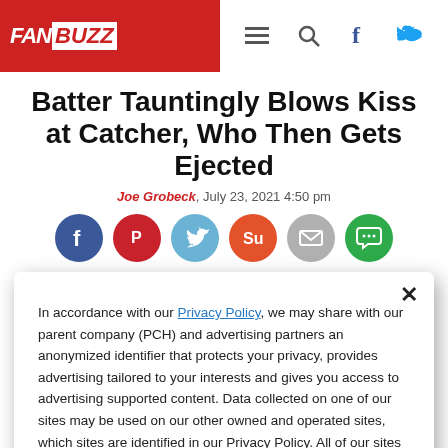FANBUZZ
Batter Tauntingly Blows Kiss at Catcher, Who Then Gets Ejected
Joe Grobeck, July 23, 2021 4:50 pm
[Figure (infographic): Social sharing icons: Facebook, Pinterest, Twitter, StumbleUpon, Email, Chat]
In accordance with our Privacy Policy, we may share with our parent company (PCH) and advertising partners an anonymized identifier that protects your privacy, provides advertising tailored to your interests and gives you access to advertising supported content. Data collected on one of our sites may be used on our other owned and operated sites, which sites are identified in our Privacy Policy. All of our sites are governed by the same Privacy Policy, and by proceeding to access this site, you are consenting to that Privacy Policy.